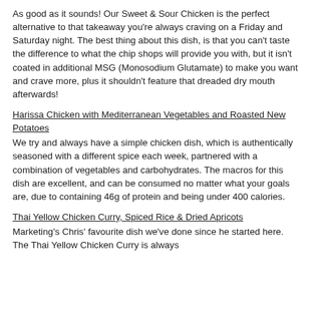As good as it sounds! Our Sweet & Sour Chicken is the perfect alternative to that takeaway you're always craving on a Friday and Saturday night. The best thing about this dish, is that you can't taste the difference to what the chip shops will provide you with, but it isn't coated in additional MSG (Monosodium Glutamate) to make you want and crave more, plus it shouldn't feature that dreaded dry mouth afterwards!
Harissa Chicken with Mediterranean Vegetables and Roasted New Potatoes
We try and always have a simple chicken dish, which is authentically seasoned with a different spice each week, partnered with a combination of vegetables and carbohydrates. The macros for this dish are excellent, and can be consumed no matter what your goals are, due to containing 46g of protein and being under 400 calories.
Thai Yellow Chicken Curry, Spiced Rice & Dried Apricots
Marketing's Chris' favourite dish we've done since he started here. The Thai Yellow Chicken Curry is always